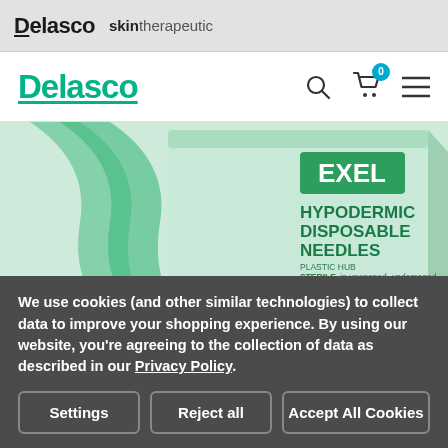Delasco skintherapeutic
Delasco
[Figure (photo): Box of EXEL Hypodermic Disposable Needles, plastic hub, sterile in unopened undamaged package, single use only-destroy after use, 100 count, sterile EO packaging. Box is light mint/green color with dark green text and branding.]
We use cookies (and other similar technologies) to collect data to improve your shopping experience. By using our website, you're agreeing to the collection of data as described in our Privacy Policy.
Settings
Reject all
Accept All Cookies